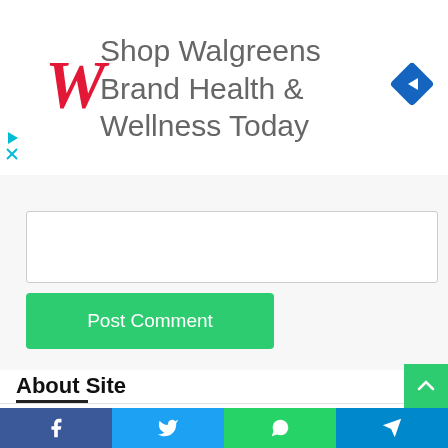[Figure (screenshot): Walgreens Brand Health & Wellness Today advertisement banner with Walgreens red cursive W logo on left and blue diamond navigation icon on right]
[Figure (screenshot): Comment form area with collapse button (caret up), text input box, and green Post Comment button]
About Site
RecordTrend.com is a website that focuses on fintech, network marketing and customer research. We are responsible for collecting the latest research data, authority data, industry research and analysis reports. We are committed to becoming a data and report sharing platform for professionals and decision makers. You can get and
[Figure (screenshot): Social sharing bar with Facebook, Twitter, WhatsApp, and Telegram buttons]